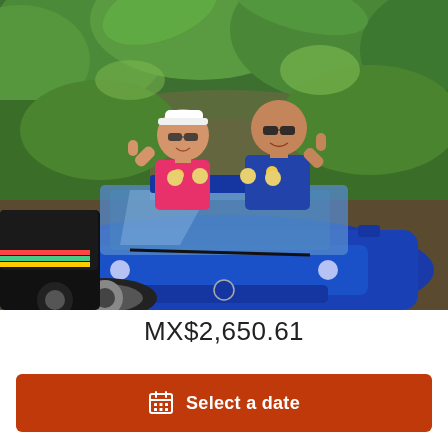[Figure (photo): Two tourists, a woman in a pink tank top with a white visor and a man in a blue sleeveless shirt, both wearing sunglasses and giving thumbs up, standing up through the sunroof of a bright blue convertible car (Mini Cooper style). Background shows lush tropical green vegetation and trees under a sunny sky. A black car with colorful stripes is partially visible on the left.]
MX$2,650.61
Select a date